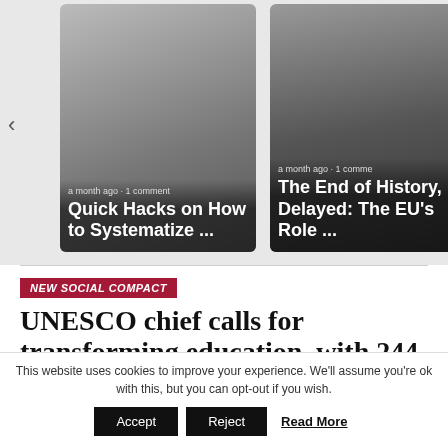[Figure (screenshot): Carousel with two article cards. Left card: desk with laptop, title 'Quick Hacks on How to Systematize ...' with meta 'a month ago • 1 comment'. Right card: building exterior, title 'The End of History, Delayed: The EU's Role ...' with meta 'a month ago • 1 comment'.]
NEW SOCIAL COMPACT
UNESCO chief calls for transforming education, with 244 million still out of school
This website uses cookies to improve your experience. We'll assume you're ok with this, but you can opt-out if you wish.
Accept   Reject   Read More